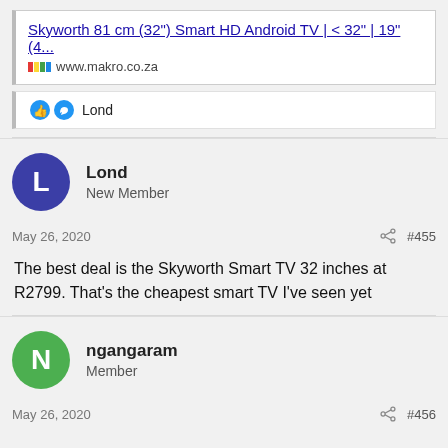Skyworth 81 cm (32") Smart HD Android TV | < 32" | 19" (4...
www.makro.co.za
Lond
Lond
New Member
May 26, 2020  #455
The best deal is the Skyworth Smart TV 32 inches at R2799. That's the cheapest smart TV I've seen yet
ngangaram
Member
May 26, 2020  #456